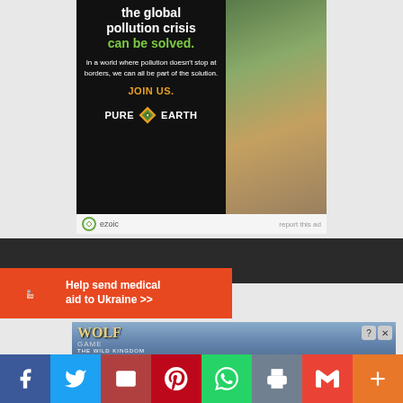[Figure (photo): Pure Earth advertisement - black background with text 'we believe the global pollution crisis can be solved.' with green text for 'can be solved.', body text 'In a world where pollution doesn't stop at borders, we can all be part of the solution.', orange JOIN US text, Pure Earth logo with diamond shape. Right side shows photo of person working outdoors with plant.]
ezoic   report this ad
[Figure (photo): Direct Relief banner ad - orange/red background with Direct Relief logo and text 'Help send medical aid to Ukraine >>']
[Figure (photo): Wolf Game: The Wild Kingdom advertisement showing wolves and game title]
[Figure (infographic): Social media share buttons bar: Facebook (blue), Twitter (blue), Email (dark red), Pinterest (red), WhatsApp (green), Print (grey), Gmail (red), More (orange)]